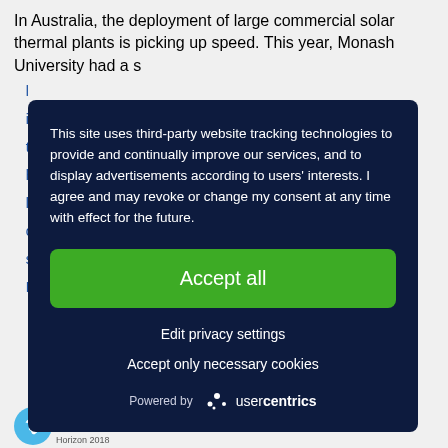In Australia, the deployment of large commercial solar thermal plants is picking up speed. This year, Monash University had a s...
This site uses third-party website tracking technologies to provide and continually improve our services, and to display advertisements according to users' interests. I agree and may revoke or change my consent at any time with effect for the future.
Accept all
Edit privacy settings
Accept only necessary cookies
Powered by usercentrics
EN
Horizon 2018